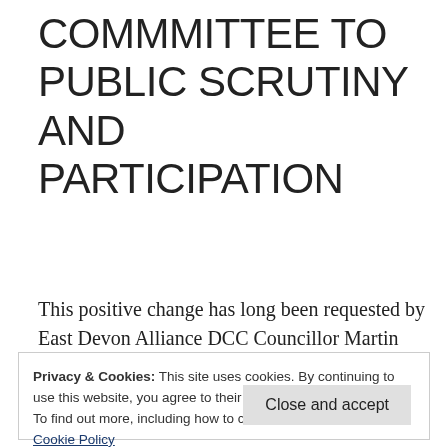COMMMITTEE TO PUBLIC SCRUTINY AND PARTICIPATION
This positive change has long been requested by East Devon Alliance DCC Councillor Martin Shaw (Colyton and Seaton).
See minutes below for a full account of discussion at the meeting – about what is
Privacy & Cookies: This site uses cookies. By continuing to use this website, you agree to their use. To find out more, including how to control cookies, see here: Cookie Policy
Close and accept